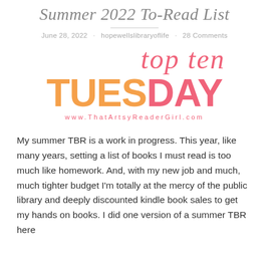Summer 2022 To-Read List
June 28, 2022 · hopewellslibraryoflife · 28 Comments
[Figure (logo): Top Ten Tuesday logo with 'top ten' in pink italic script above 'TUESDAY' in large bold orange/pink letters, with www.ThatArtsyReaderGirl.com below]
My summer TBR is a work in progress. This year, like many years, setting a list of books I must read is too much like homework. And, with my new job and much, much tighter budget I'm totally at the mercy of the public library and deeply discounted kindle book sales to get my hands on books. I did one version of a summer TBR here